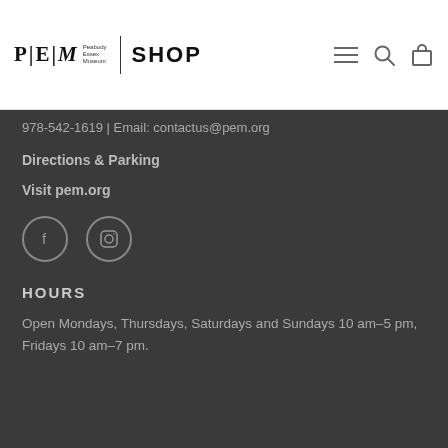P|E|M Peabody Essex Museum | SHOP
978-542-1619 | Email: contactus@pem.org
Directions & Parking
Visit pem.org
[Figure (other): Social media icons: Facebook and Instagram circular icon buttons]
HOURS
Open Mondays, Thursdays, Saturdays and Sundays 10 am–5 pm, Fridays 10 am–7 pm.